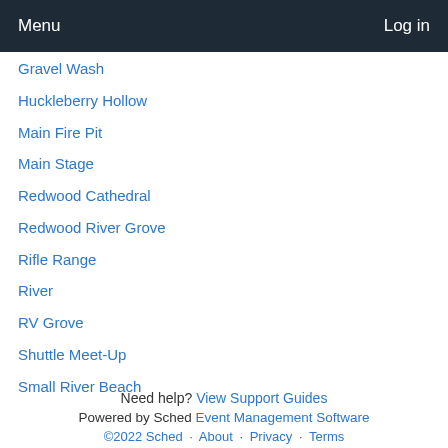Menu   Log in
Gravel Wash
Huckleberry Hollow
Main Fire Pit
Main Stage
Redwood Cathedral
Redwood River Grove
Rifle Range
River
RV Grove
Shuttle Meet-Up
Small River Beach
Need help? View Support Guides
Powered by Sched Event Management Software ©2022 Sched · About · Privacy · Terms